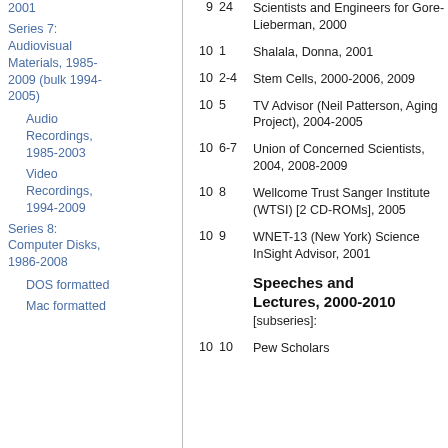Series 7: Audiovisual Materials, 1985-2009 (bulk 1994-2005)
Audio Recordings, 1985-2003
Video Recordings, 1994-2009
Series 8: Computer Disks, 1986-2008
DOS formatted
Mac formatted
| Box | Folder | Entry |
| --- | --- | --- |
| 9 | 24 | Scientists and Engineers for Gore-Lieberman, 2000 |
| 10 | 1 | Shalala, Donna, 2001 |
| 10 | 2-4 | Stem Cells, 2000-2006, 2009 |
| 10 | 5 | TV Advisor (Neil Patterson, Aging Project), 2004-2005 |
| 10 | 6-7 | Union of Concerned Scientists, 2004, 2008-2009 |
| 10 | 8 | Wellcome Trust Sanger Institute (WTSI) [2 CD-ROMs], 2005 |
| 10 | 9 | WNET-13 (New York) Science InSight Advisor, 2001 |
|  |  | Speeches and Lectures, 2000-2010 [subseries]: |
| 10 | 10 | Pew Scholars |